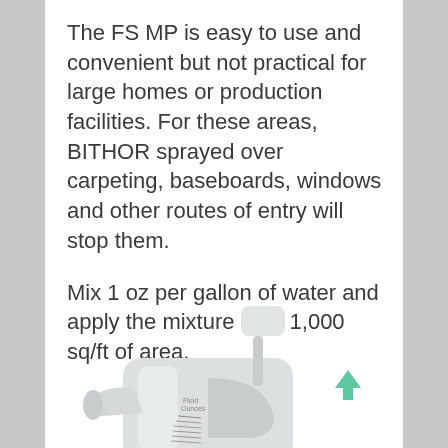The FS MP is easy to use and convenient but not practical for large homes or production facilities. For these areas, BITHOR sprayed over carpeting, baseboards, windows and other routes of entry will stop them.
Mix 1 oz per gallon of water and apply the mixture over 1,000 sq/ft of area.
[Figure (photo): A white plastic spray bottle shown from the side, partially cropped at the bottom of the image.]